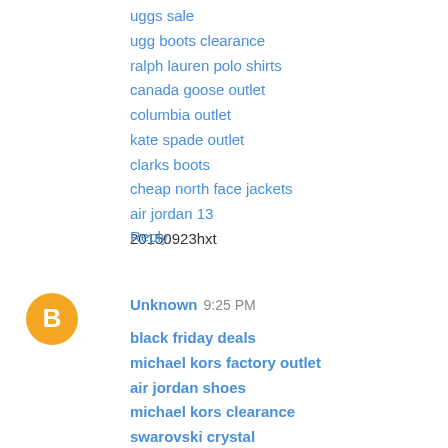uggs sale
ugg boots clearance
ralph lauren polo shirts
canada goose outlet
columbia outlet
kate spade outlet
clarks boots
cheap north face jackets
air jordan 13
20150923hxt
Reply
Unknown  9:25 PM
black friday deals
michael kors factory outlet
air jordan shoes
michael kors clearance
swarovski crystal
tiffany jewellery
the north face outlet